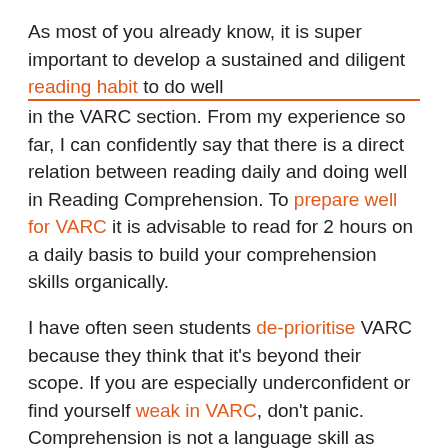As most of you already know, it is super important to develop a sustained and diligent reading habit to do well in the VARC section. From my experience so far, I can confidently say that there is a direct relation between reading daily and doing well in Reading Comprehension. To prepare well for VARC it is advisable to read for 2 hours on a daily basis to build your comprehension skills organically.
I have often seen students de-prioritise VARC because they think that it's beyond their scope. If you are especially underconfident or find yourself weak in VARC, don't panic. Comprehension is not a language skill as much as the ability to think critically. It does not require you to know the nitty-gritty of grammar. CAT basically tests you on how dexterously you understand an idea. And, in order to achieve this, a flair for reading is a must.